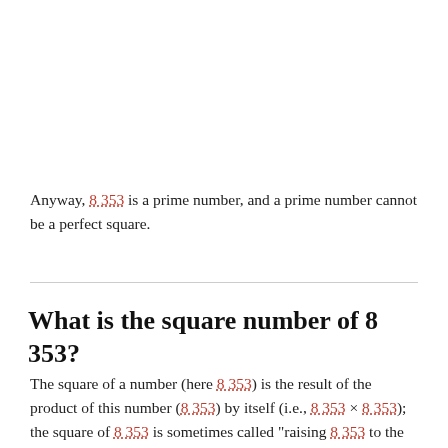Anyway, 8 353 is a prime number, and a prime number cannot be a perfect square.
What is the square number of 8 353?
The square of a number (here 8 353) is the result of the product of this number (8 353) by itself (i.e., 8 353 × 8 353); the square of 8 353 is sometimes called "raising 8 353 to the power 2", or "8 353 squared".